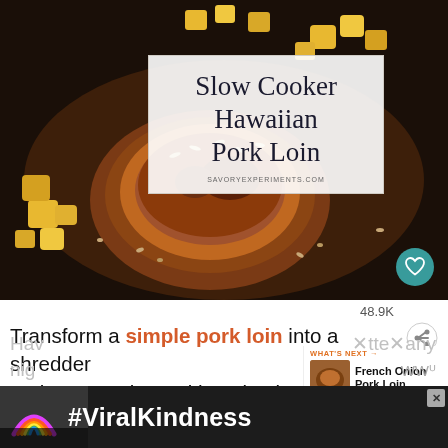[Figure (photo): Food photo of a slow cooker pork loin with pineapple chunks, nuts, and a white title overlay card in the center reading 'Slow Cooker Hawaiian Pork Loin' and 'SAVORYEXPERIMENTS.COM']
48.9K
Transform a simple pork loin into a shredded pork masterpiece with a simple homemade rub. pineapple, onion, and soy sauce. Ea... ingredients and your slow cooker make this
WHAT'S NEXT → French Onion Pork Loin
[Figure (infographic): Dark advertisement banner with rainbow icon and bold white text '#ViralKindness']
Hav... tte...any nig...